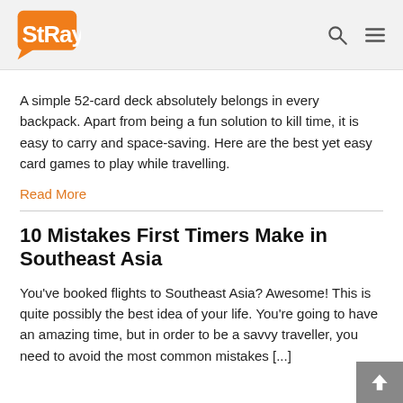Stray
A simple 52-card deck absolutely belongs in every backpack. Apart from being a fun solution to kill time, it is easy to carry and space-saving. Here are the best yet easy card games to play while travelling.
Read More
10 Mistakes First Timers Make in Southeast Asia
You've booked flights to Southeast Asia? Awesome! This is quite possibly the best idea of your life. You're going to have an amazing time, but in order to be a savvy traveller, you need to avoid the most common mistakes [...]